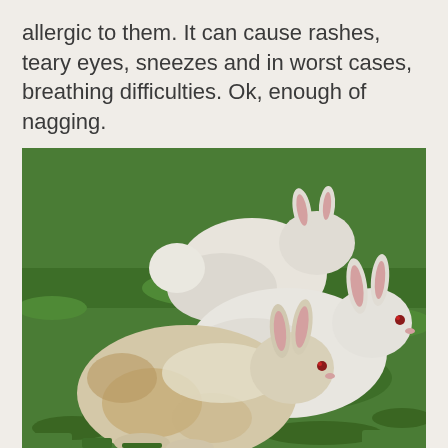allergic to them. It can cause rashes, teary eyes, sneezes and in worst cases, breathing difficulties. Ok, enough of nagging.
[Figure (photo): Three white rabbits (one with beige/brown patches) sitting on green grass. Two face right showing pink-lined ears and red eyes; one faces away showing fluffy white back.]